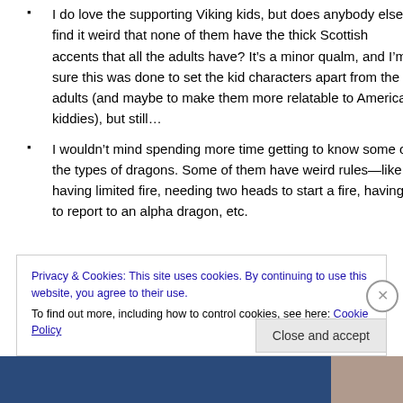I do love the supporting Viking kids, but does anybody else find it weird that none of them have the thick Scottish accents that all the adults have? It's a minor qualm, and I'm sure this was done to set the kid characters apart from the adults (and maybe to make them more relatable to American kiddies), but still…
I wouldn't mind spending more time getting to know some of the types of dragons. Some of them have weird rules—like having limited fire, needing two heads to start a fire, having to report to an alpha dragon, etc.
Privacy & Cookies: This site uses cookies. By continuing to use this website, you agree to their use.
To find out more, including how to control cookies, see here: Cookie Policy
Close and accept